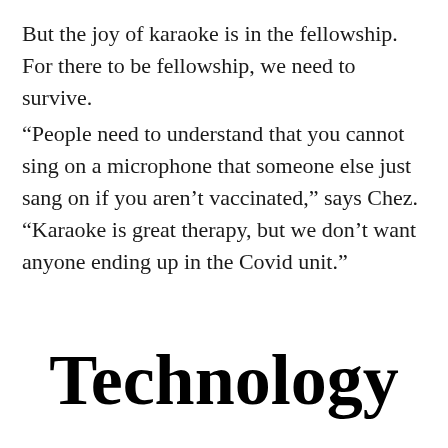But the joy of karaoke is in the fellowship. For there to be fellowship, we need to survive.
“People need to understand that you cannot sing on a microphone that someone else just sang on if you aren’t vaccinated,” says Chez. “Karaoke is great therapy, but we don’t want anyone ending up in the Covid unit.”
Technology